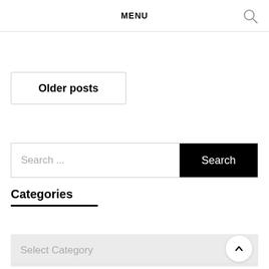MENU
Older posts
Search ...
Search
Categories
Select Category